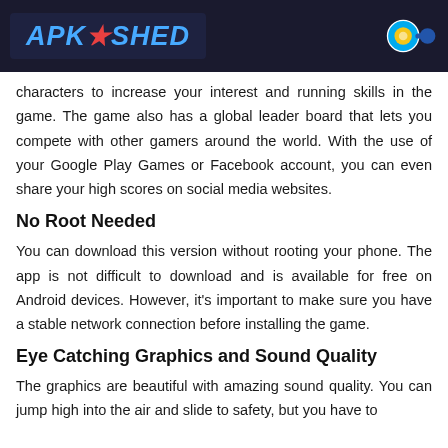APK SHED
characters to increase your interest and running skills in the game. The game also has a global leader board that lets you compete with other gamers around the world. With the use of your Google Play Games or Facebook account, you can even share your high scores on social media websites.
No Root Needed
You can download this version without rooting your phone. The app is not difficult to download and is available for free on Android devices. However, it's important to make sure you have a stable network connection before installing the game.
Eye Catching Graphics and Sound Quality
The graphics are beautiful with amazing sound quality. You can jump high into the air and slide to safety, but you have to